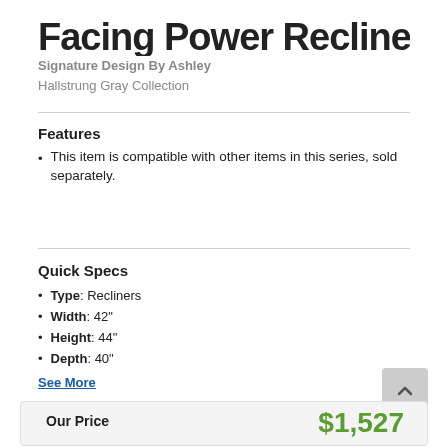Facing Power Recliner
Signature Design By Ashley
Hallstrung Gray Collection
Features
This item is compatible with other items in this series, sold separately.
Quick Specs
Type: Recliners
Width: 42"
Height: 44"
Depth: 40"
See More
Our Price
$1,527